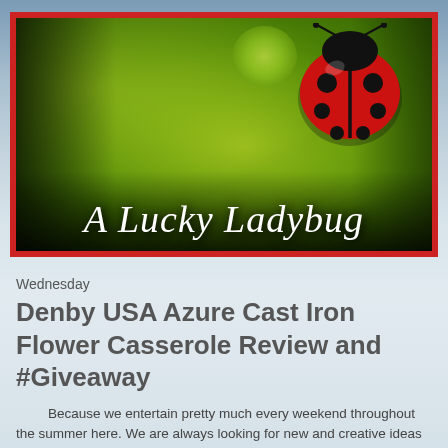[Figure (illustration): A Lucky Ladybug blog banner — dark green leafy background with a red ladybug on the right and white italic script text 'A Lucky Ladybug' at the bottom, inside a red border frame.]
Wednesday
Denby USA Azure Cast Iron Flower Casserole Review and #Giveaway
Because we entertain pretty much every weekend throughout the summer here.  We are always looking for new and creative ideas for meals, drinks, and games.  Also being that I used to work at a restaurant that provided catering I find myself...